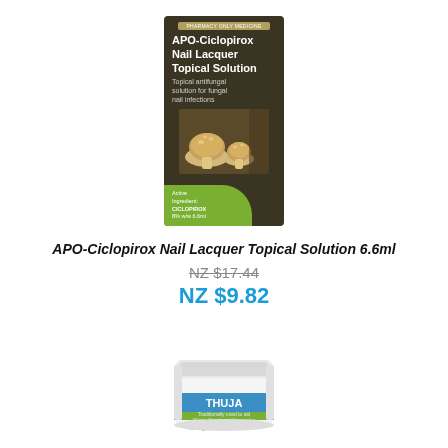[Figure (photo): Product box of APO-Ciclopirox Nail Lacquer Topical Solution 6.6ml — dark brown/green box with mushroom imagery and green branding badge at bottom showing active ingredient Ciclopirox 8% w/w 6.6ml. Badge reads PHARMACY ONLY MEDICINE at top.]
APO-Ciclopirox Nail Lacquer Topical Solution 6.6ml
NZ $17.44
NZ $9.82
[Figure (photo): Small white round jar of Thuja product by A. Vogel (Martin & Pleasance). Blue and green label visible on front of jar.]